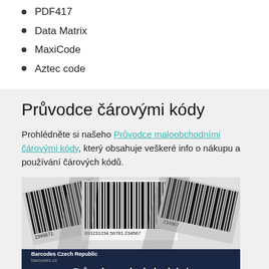PDF417
Data Matrix
MaxiCode
Aztec code
Průvodce čárovými kódy
Prohlédněte si našeho Průvodce maloobchodními čárovými kódy, který obsahuje veškeré info o nákupu a používání čárových kódů.
[Figure (photo): Image of multiple barcodes fanned out, with a dark navy banner below reading 'Průvodce maloobchodními čárovými kódy' and the branding 'Barcodes Czech Republic / barcodes.cz']
Reviews on Seznam.cz